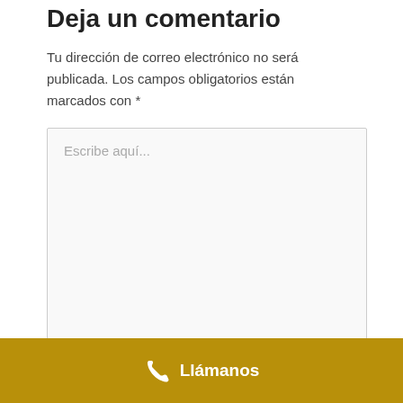Deja un comentario
Tu dirección de correo electrónico no será publicada. Los campos obligatorios están marcados con *
Escribe aquí...
Nombre*
Llámanos